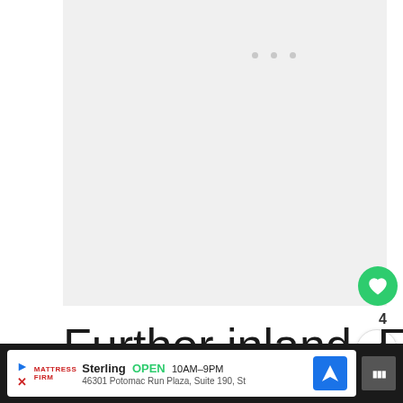[Figure (photo): Light gray image placeholder area with three small dots near the top center, representing a loading or placeholder image in a web article.]
Further inland, Europeans found the river Kasai, Ku and Kasther. The whites there
[Figure (other): WHAT'S NEXT panel with a book thumbnail and text 'Butterflies Facts']
[Figure (other): Advertisement bar at the bottom: Mattress Firm, Sterling OPEN 10AM-9PM, 46301 Potomac Run Plaza, Suite 190, St]